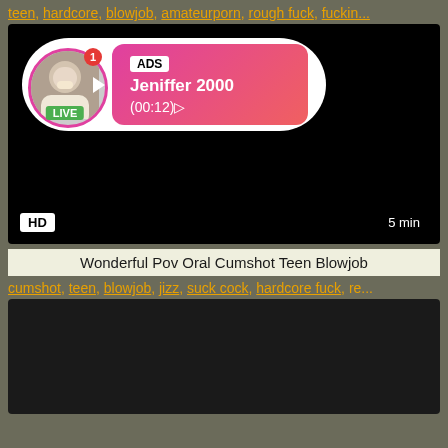teen, hardcore, blowjob, amateurporn, rough fuck, fuckin...
[Figure (screenshot): Video thumbnail (black) with ad overlay showing profile picture with LIVE badge, ADS label, name Jeniffer 2000, time (00:12), HD badge bottom-left, 5 min badge bottom-right]
Wonderful Pov Oral Cumshot Teen Blowjob
cumshot, teen, blowjob, jizz, suck cock, hardcore fuck, re...
[Figure (screenshot): Second video thumbnail (dark/black background)]